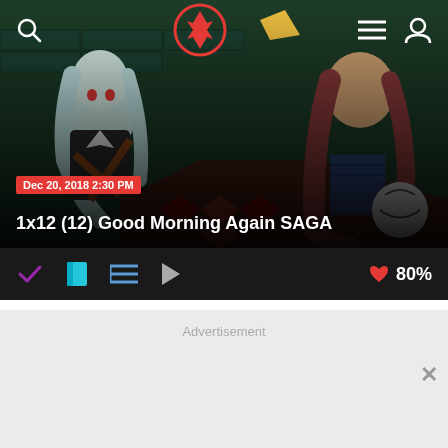[Figure (screenshot): Anime screenshot showing colorful characters from 'Good Morning Again SAGA' episode]
1x12 (12) Good Morning Again SAGA — Dec 20, 2018 2:30 PM
Dec 20, 2018 2:30 PM
1x12 (12) Good Morning Again SAGA
80%
Advertisement